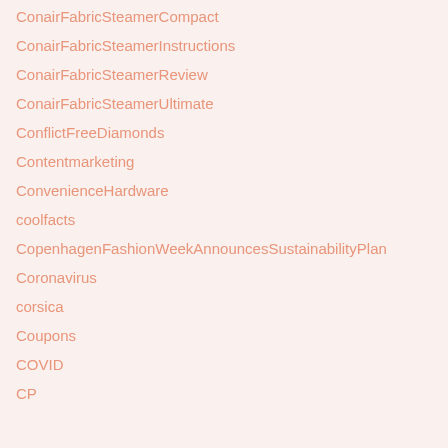ConairFabricSteamerCompact
ConairFabricSteamerInstructions
ConairFabricSteamerReview
ConairFabricSteamerUltimate
ConflictFreeDiamonds
Contentmarketing
ConvenienceHardware
coolfacts
CopenhagenFashionWeekAnnouncesSustainabilityPlan
Coronavirus
corsica
Coupons
COVID
CP